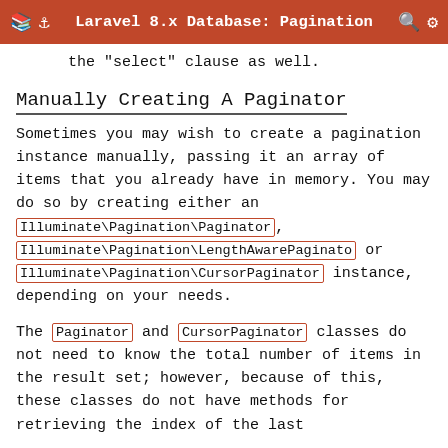Laravel 8.x Database: Pagination
the "select" clause as well.
Manually Creating A Paginator
Sometimes you may wish to create a pagination instance manually, passing it an array of items that you already have in memory. You may do so by creating either an Illuminate\Pagination\Paginator, Illuminate\Pagination\LengthAwarePaginator or Illuminate\Pagination\CursorPaginator instance, depending on your needs.
The Paginator and CursorPaginator classes do not need to know the total number of items in the result set; however, because of this, these classes do not have methods for retrieving the index of the last